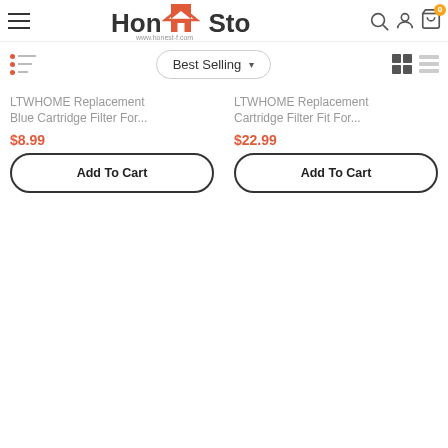HonestSto — www.honest-f.com
LTWHOME Replacement Blue Cartridge Filter For... $8.99
LTWHOME Replacement Cartridge Filter Fit For... $22.99
Add To Cart
Add To Cart